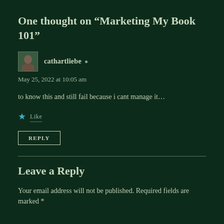One thought on “Marketing My Book 101”
cathartliebe
May 25, 2022 at 10:05 am
to know this and still fail because i cant manage it…
Like
REPLY
Leave a Reply
Your email address will not be published. Required fields are marked *